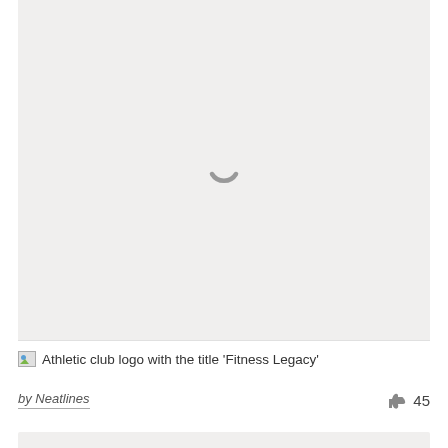[Figure (other): Loading placeholder with spinner icon on light gray background representing an athletic club logo with the title 'Fitness Legacy']
Athletic club logo with the title 'Fitness Legacy'
by Neatlines
45